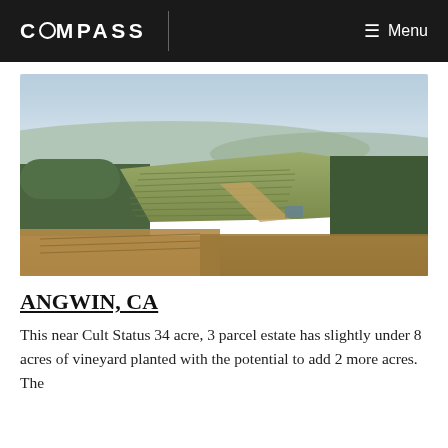COMPASS   Menu
[Figure (photo): Aerial drone photograph of a hillside vineyard estate in Angwin, CA. Rolling vineyard rows visible on hillsides surrounded by trees, with a broad valley and hazy blue sky in the background.]
ANGWIN, CA
This near Cult Status 34 acre, 3 parcel estate has slightly under 8 acres of vineyard planted with the potential to add 2 more acres. The